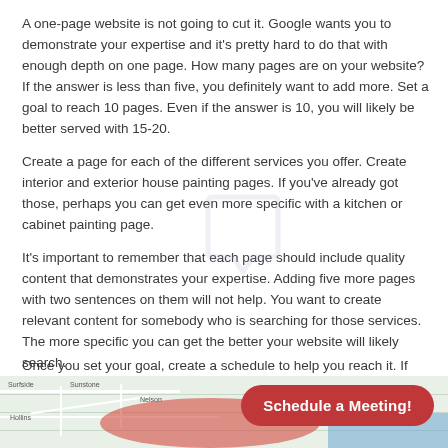A one-page website is not going to cut it. Google wants you to demonstrate your expertise and it's pretty hard to do that with enough depth on one page. How many pages are on your website? If the answer is less than five, you definitely want to add more. Set a goal to reach 10 pages. Even if the answer is 10, you will likely be better served with 15-20.
Create a page for each of the different services you offer. Create interior and exterior house painting pages. If you've already got those, perhaps you can get even more specific with a kitchen or cabinet painting page.
It's important to remember that each page should include quality content that demonstrates your expertise. Adding five more pages with two sentences on them will not help. You want to create relevant content for somebody who is searching for those services. The more specific you can get the better your website will likely search.
Once you set your goal, create a schedule to help you reach it. If you have five pages and your goal is to get to 10 pages, give yourself a month to create each new page. In five months you will have reached your goal. Take a month off and then set a new goal.
[Figure (map): Partial map view at the bottom of the page with a red blob overlay and blue water area, showing a geographic region.]
Schedule a Meeting!